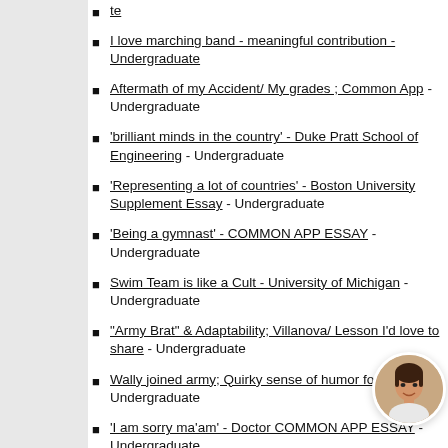te
I love marching band - meaningful contribution - Undergraduate
Aftermath of my Accident/ My grades ; Common App - Undergraduate
'brilliant minds in the country' - Duke Pratt School of Engineering - Undergraduate
'Representing a lot of countries' - Boston University Supplement Essay - Undergraduate
'Being a gymnast' - COMMON APP ESSAY - Undergraduate
Swim Team is like a Cult - University of Michigan - Undergraduate
"Army Brat" & Adaptability; Villanova/ Lesson I'd love to share - Undergraduate
Wally joined army; Quirky sense of humor for Caltech - Undergraduate
'I am sorry ma'am' - Doctor COMMON APP ESSAY - Undergraduate